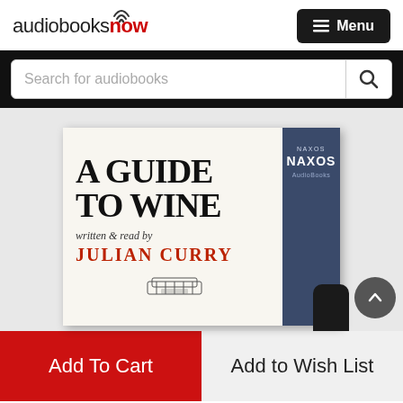[Figure (logo): AudiobooksNow logo with wifi signal icon above the letter 'o' in 'now', with 'now' in red]
Menu
Search for audiobooks
[Figure (photo): Book cover for 'A Guide to Wine' written and read by Julian Curry, published by Naxos AudioBooks. The cover shows large serif black text on a white/cream background, with the author name in red. A dark blue spine is visible on the right side.]
Add To Cart
Add to Wish List